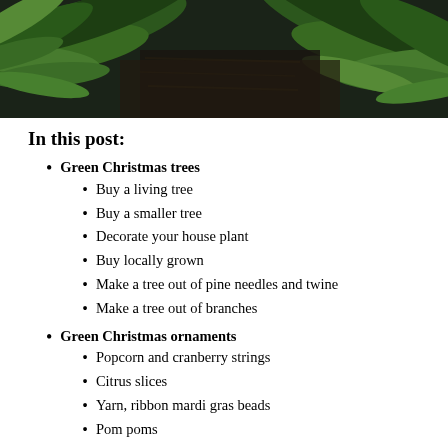[Figure (photo): Close-up photo of green pine/cedar branches on a dark wooden background]
In this post:
Green Christmas trees
Buy a living tree
Buy a smaller tree
Decorate your house plant
Buy locally grown
Make a tree out of pine needles and twine
Make a tree out of branches
Green Christmas ornaments
Popcorn and cranberry strings
Citrus slices
Yarn, ribbon mardi gras beads
Pom poms